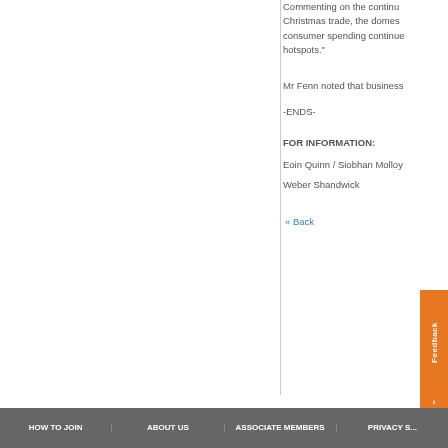Commenting on the continued Christmas trade, the domestic consumer spending continue hotspots."
Mr Fenn noted that business
-ENDS-
FOR INFORMATION:
Eoin Quinn / Siobhan Molloy
Weber Shandwick
« Back
HOW TO JOIN | ABOUT US | ASSOCIATE MEMBERS | PRIVACY S...